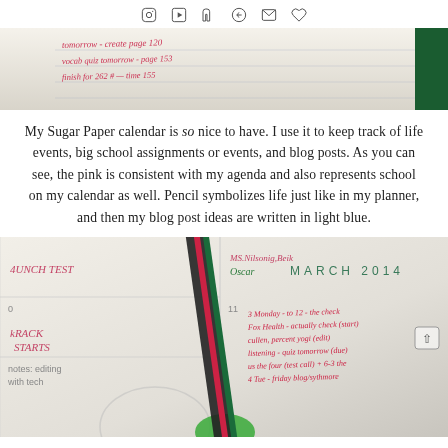Social media icons: Instagram, YouTube, Tumblr, Pinterest, Email, Heart/Bloglovin
[Figure (photo): Close-up photo of a handwritten calendar or planner page with pink handwriting showing assignments and notes, with a dark green spine visible on the right]
My Sugar Paper calendar is so nice to have. I use it to keep track of life events, big school assignments or events, and blog posts. As you can see, the pink is consistent with my agenda and also represents school on my calendar as well. Pencil symbolizes life just like in my planner, and then my blog post ideas are written in light blue.
[Figure (photo): Photo of an open Sugar Paper calendar showing March 2014, with handwritten entries in pink/red including 'LAUNCH TEST', 'TRACK STARTS', and various other notes. A notebook with colorful spine stripes is partially overlapping the calendar.]